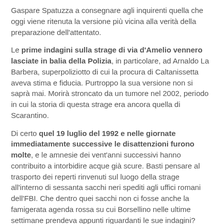Gaspare Spatuzza a consegnare agli inquirenti quella che oggi viene ritenuta la versione più vicina alla verità della preparazione dell'attentato.
Le prime indagini sulla strage di via d'Amelio vennero lasciate in balia della Polizia, in particolare, ad Arnaldo La Barbera, superpoliziotto di cui la procura di Caltanissetta aveva stima e fiducia. Purtroppo la sua versione non si saprà mai. Morirà stroncato da un tumore nel 2002, periodo in cui la storia di questa strage era ancora quella di Scarantino.
Di certo quel 19 luglio del 1992 e nelle giornate immediatamente successive le disattenzioni furono molte, e le amnesie dei vent'anni successivi hanno contribuito a intorbidire acque già scure. Basti pensare al trasporto dei reperti rinvenuti sul luogo della strage all'interno di sessanta sacchi neri spediti agli uffici romani dell'FBI. Che dentro quei sacchi non ci fosse anche la famigerata agenda rossa su cui Borsellino nelle ultime settimane prendeva appunti riguardanti le sue indagini?
Dopo la morte di Falcone e quella immediatamente